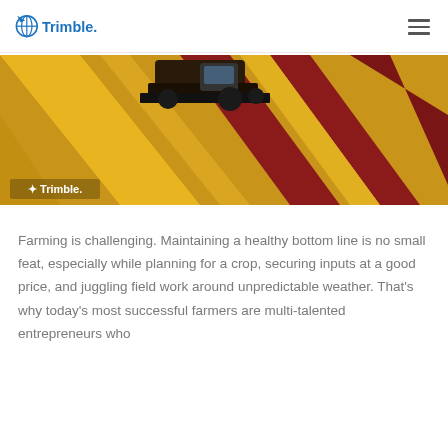Trimble
[Figure (photo): Aerial view of a combine harvester working across a field with alternating golden grain and red harvested rows, with Trimble logo watermark in bottom left corner]
Farming is challenging. Maintaining a healthy bottom line is no small feat, especially while planning for a crop, securing inputs at a good price, and juggling field work around unpredictable weather. That’s why today’s most successful farmers are multi-talented entrepreneurs who